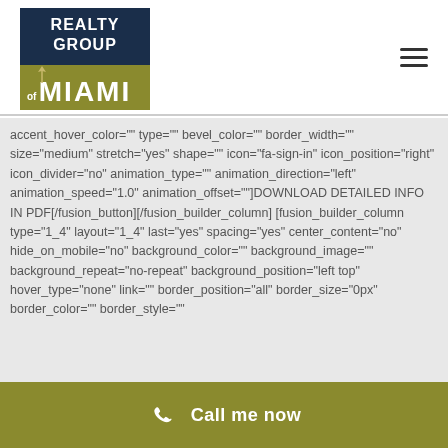[Figure (logo): Realty Group of Miami logo — dark navy rectangle top with white text REALTY GROUP, gold/olive rectangle bottom with white text MIAMI and a stylized M with palm tree icon]
accent_hover_color="" type="" bevel_color="" border_width="" size="medium" stretch="yes" shape="" icon="fa-sign-in" icon_position="right" icon_divider="no" animation_type="" animation_direction="left" animation_speed="1.0" animation_offset=""]DOWNLOAD DETAILED INFO IN PDF[/fusion_button][/fusion_builder_column] [fusion_builder_column type="1_4" layout="1_4" last="yes" spacing="yes" center_content="no" hide_on_mobile="no" background_color="" background_image="" background_repeat="no-repeat" background_position="left top" hover_type="none" link="" border_position="all" border_size="0px" border_color="" border_style=""
Call me now